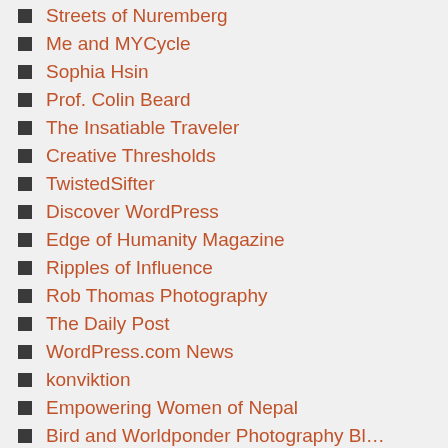Streets of Nuremberg
Me and MYCycle
Sophia Hsin
Prof. Colin Beard
The Insatiable Traveler
Creative Thresholds
TwistedSifter
Discover WordPress
Edge of Humanity Magazine
Ripples of Influence
Rob Thomas Photography
The Daily Post
WordPress.com News
konviktion
Empowering Women of Nepal
Bird and Worldponder Photography Bl...